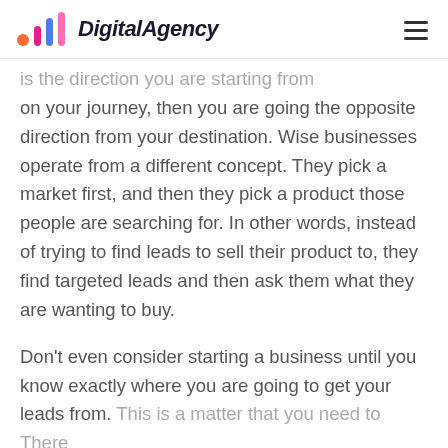DigitalAgency
is the direction you are starting from on your journey, then you are going the opposite direction from your destination. Wise businesses operate from a different concept. They pick a market first, and then they pick a product those people are searching for. In other words, instead of trying to find leads to sell their product to, they find targeted leads and then ask them what they are wanting to buy.
Don't even consider starting a business until you know exactly where you are going to get your leads from. This is a matter that you need to There